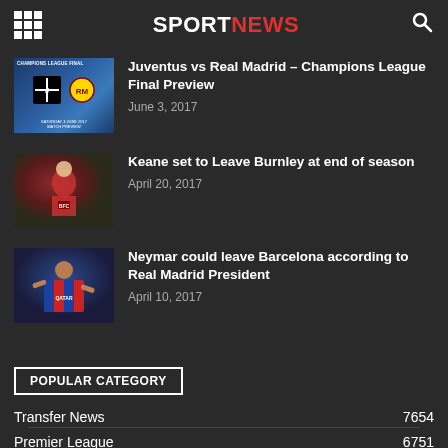SPORTNEWS
[Figure (photo): Champions League Final thumbnail showing Juventus vs Real Madrid logos on blue background with text CHAMPIONS LEAGUE FINAL SATURDAY 3 JUNE 2017 MATCH PREVIEW]
Juventus vs Real Madrid – Champions League Final Preview
June 3, 2017
[Figure (photo): Photo of Michael Keane in Burnley jersey celebrating on football pitch]
Keane set to Leave Burnley at end of season
April 20, 2017
[Figure (photo): Photo of Neymar in Barcelona jersey with QATAR sponsor, blue and red stripes]
Neymar could leave Barcelona according to Real Madrid President
April 10, 2017
POPULAR CATEGORY
Transfer News  7654
Premier League  6751